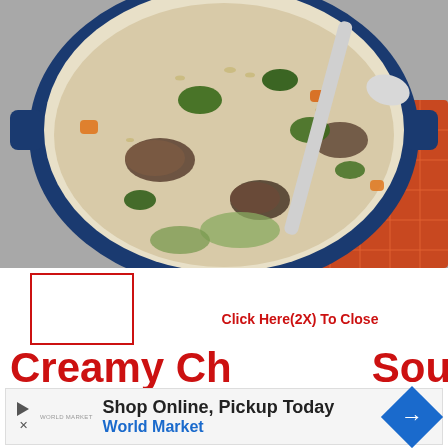[Figure (photo): Overhead view of a large blue Dutch oven filled with creamy chicken mushroom soup with spinach, mushrooms, carrots, orzo, and a serving spoon, placed on an orange plaid napkin on a gray surface.]
[Figure (other): White rectangle with red border (image placeholder/logo box)]
Click Here(2X) To Close
Creamy Ch Soup
[Figure (other): Advertisement banner: Shop Online, Pickup Today - World Market, with blue diamond arrow icon]